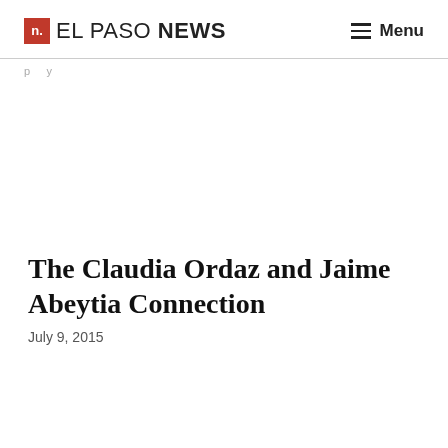n. EL PASO NEWS  Menu
p y
The Claudia Ordaz and Jaime Abeytia Connection
July 9, 2015